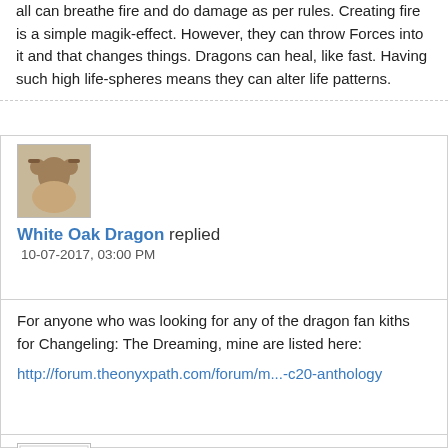all can breathe fire and do damage as per rules. Creating fire is a simple magik-effect. However, they can throw Forces into it and that changes things. Dragons can heal, like fast. Having such high life-spheres means they can alter life patterns.
[Figure (photo): Avatar image of a person with hands on head]
White Oak Dragon replied
10-07-2017, 03:00 PM
For anyone who was looking for any of the dragon fan kiths for Changeling: The Dreaming, mine are listed here:
http://forum.theonyxpath.com/forum/m...-c20-anthology
[Figure (photo): Avatar image with panda WTF logo]
Maris Streck replied
10-02-2017, 11:06 AM
Originally posted by Saur Ops Specialist
Yes, there is, because a dragon or what have you (again, Werewolf doesn't use the concept of Bygones) could leave